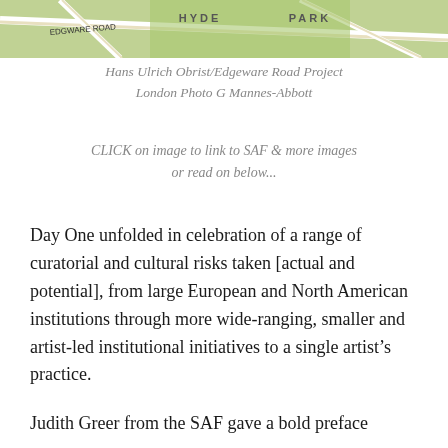[Figure (map): Partial view of a London map showing Hyde Park area with road labels including 'HYDE' and 'PARK' visible at top.]
Hans Ulrich Obrist/Edgeware Road Project London Photo G Mannes-Abbott
CLICK on image to link to SAF & more images or read on below...
Day One unfolded in celebration of a range of curatorial and cultural risks taken [actual and potential], from large European and North American institutions through more wide-ranging, smaller and artist-led institutional initiatives to a single artist’s practice.
Judith Greer from the SAF gave a bold preface